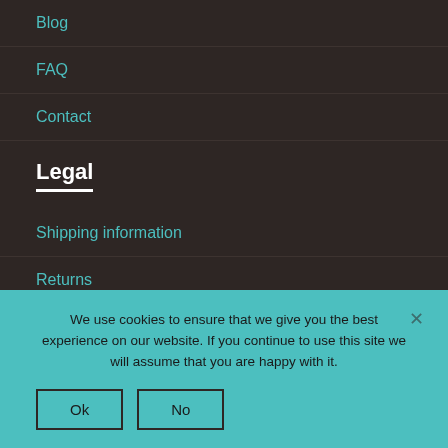Blog
FAQ
Contact
Legal
Shipping information
Returns
We use cookies to ensure that we give you the best experience on our website. If you continue to use this site we will assume that you are happy with it.
Ok
No